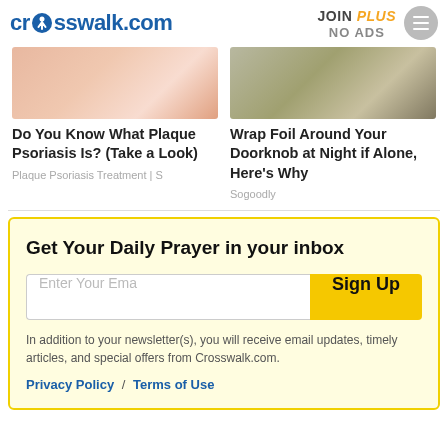crosswalk.com | JOIN PLUS NO ADS
[Figure (photo): Skin close-up image related to plaque psoriasis article]
Do You Know What Plaque Psoriasis Is? (Take a Look)
Plaque Psoriasis Treatment | S
[Figure (photo): Doorknob with foil wrapped around it]
Wrap Foil Around Your Doorknob at Night if Alone, Here's Why
Sogoodly
Get Your Daily Prayer in your inbox
In addition to your newsletter(s), you will receive email updates, timely articles, and special offers from Crosswalk.com.
Privacy Policy / Terms of Use